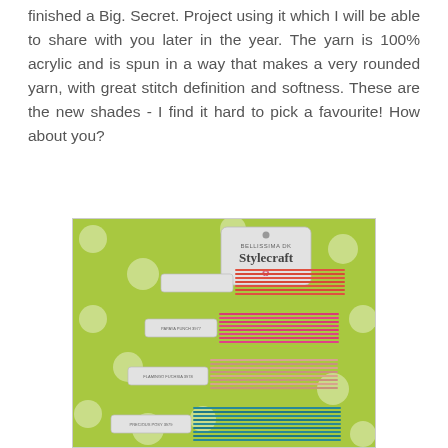finished a Big. Secret. Project using it which I will be able to share with you later in the year. The yarn is 100% acrylic and is spun in a way that makes a very rounded yarn, with great stitch definition and softness. These are the new shades - I find it hard to pick a favourite! How about you?
[Figure (photo): Photo of Stylecraft Bellissima DK yarn skeins in four colors (coral/red, pink/punch, flamingo fuchsia, precious posy teal) displayed on small cardboard tags, laid out on a green polka-dot fabric background.]